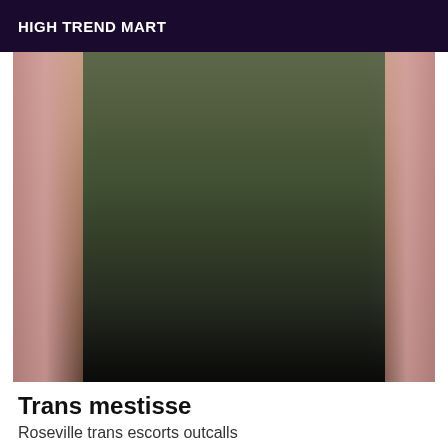HIGH TREND MART
[Figure (photo): Person wearing a black lace bodysuit and high-heeled boots, standing in front of pink curtains in an indoor setting.]
Trans mestisse
Roseville trans escorts outcalls